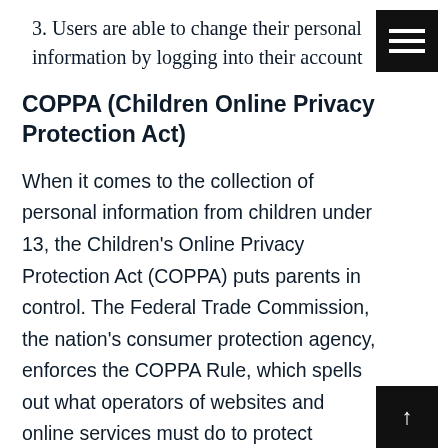3. Users are able to change their personal information by logging into their account
COPPA (Children Online Privacy Protection Act)
When it comes to the collection of personal information from children under 13, the Children's Online Privacy Protection Act (COPPA) puts parents in control. The Federal Trade Commission, the nation's consumer protection agency, enforces the COPPA Rule, which spells out what operators of websites and online services must do to protect children's privacy and safety online. We do not specifically market to children under 13.